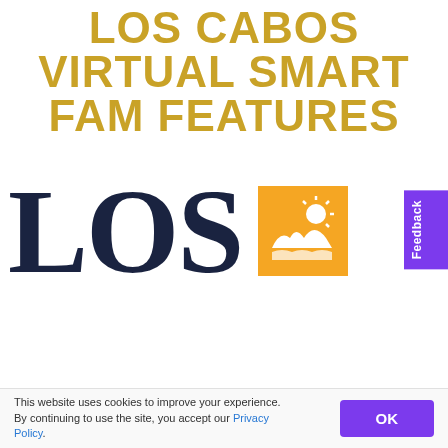LOS CABOS VIRTUAL SMART FAM FEATURES
[Figure (logo): Los Cabos tourism logo: large dark navy serif text 'LOS' and 'CABOS' with an orange square icon depicting a sun and landscape]
Feedback
This website uses cookies to improve your experience. By continuing to use the site, you accept our Privacy Policy.